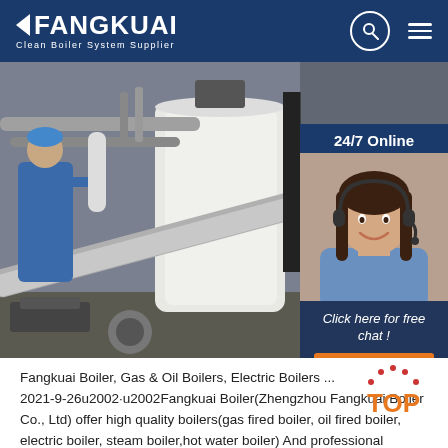FANGKUAI - Clean Boiler System Supplier
[Figure (photo): Industrial boiler facility showing a large white cylindrical boiler tank with pipes, a worker in blue attire on the left, set in a factory environment.]
[Figure (photo): 24/7 Online chat support representative - woman with headset smiling, with 'Click here for free chat!' text and QUOTATION button overlay on dark blue background.]
Fangkuai Boiler, Gas & Oil Boilers, Electric Boilers ... 2021-9-26u2002·u2002Fangkuai Boiler(Zhengzhou Fangkuai Boiler Co., Ltd) offer high quality boilers(gas fired boiler, oil fired boiler, electric boiler, steam boiler,hot water boiler) And professional